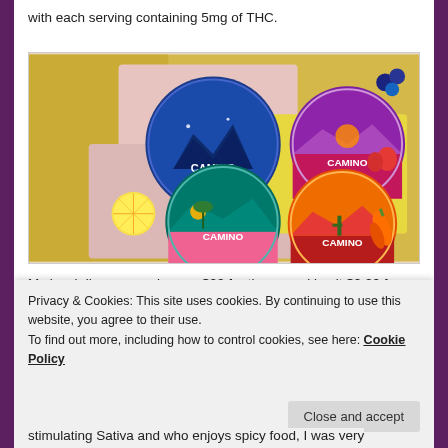with each serving containing 5mg of THC.
[Figure (photo): Four circular Camino branded cannabis gummy tins arranged on pink and yellow surfaces with fruit props including lemon slices, berries, and a chili pepper. The tins feature colorful landscape artwork in blue, teal, pink, and orange/red color schemes.]
My local dispensary charges $22 for these, making it $2.20 for each 10mg serving of THC, the same price point as the Kiva Cannabis Chocolate bars with 100mg of THC.
Privacy & Cookies: This site uses cookies. By continuing to use this website, you agree to their use.
To find out more, including how to control cookies, see here: Cookie Policy
stimulating Sativa and who enjoys spicy food, I was very